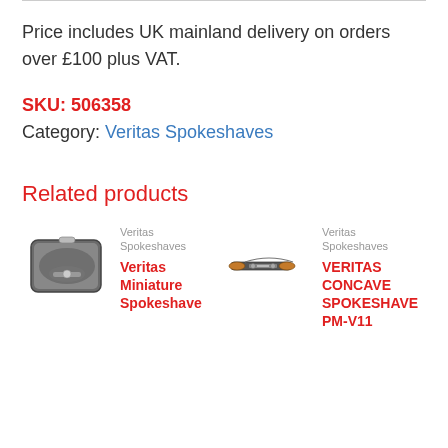Price includes UK mainland delivery on orders over £100 plus VAT.
SKU: 506358
Category: Veritas Spokeshaves
Related products
[Figure (photo): Veritas tool case/kit in grey with spokeshave tools]
Veritas Spokeshaves
Veritas Miniature Spokeshave
[Figure (photo): Veritas concave spokeshave tool]
Veritas Spokeshaves
VERITAS CONCAVE SPOKESHAVE PM-V11